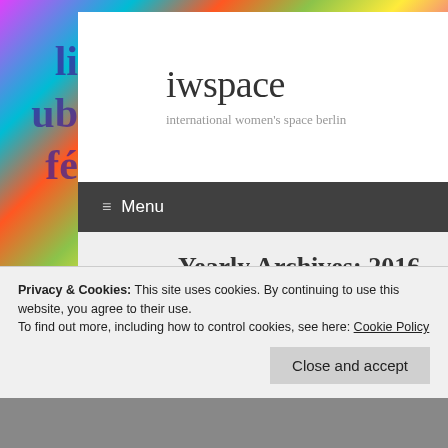[Figure (screenshot): Colorful abstract graffiti/mural background visible on the left, right, and bottom edges of the page behind the main white content card.]
iwspace
international women's space berlin
≡ Menu
Yearly Archives: 2016
Privacy & Cookies: This site uses cookies. By continuing to use this website, you agree to their use.
To find out more, including how to control cookies, see here: Cookie Policy
Close and accept